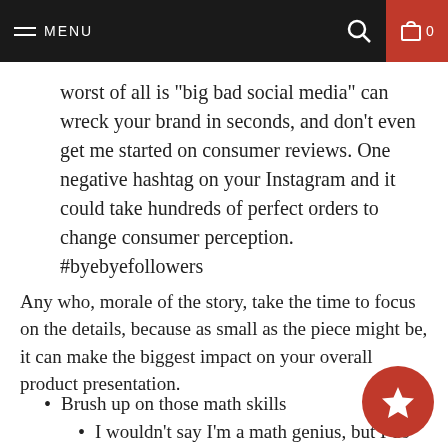MENU  🔍  🛒 0
worst of all is "big bad social media" can wreck your brand in seconds, and don't even get me started on consumer reviews. One negative hashtag on your Instagram and it could take hundreds of perfect orders to change consumer perception. #byebyefollowers
Any who, morale of the story, take the time to focus on the details, because as small as the piece might be, it can make the biggest impact on your overall product presentation.
Brush up on those math skills
I wouldn't say I'm a math genius, but I do know how to hold my own when